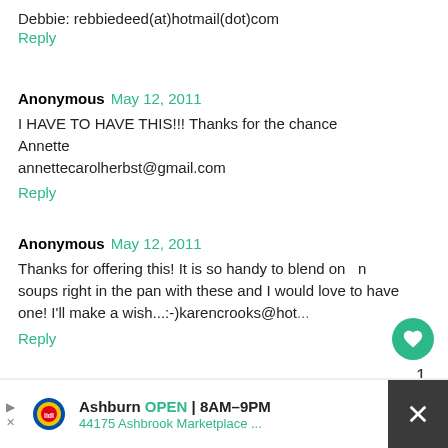Debbie: rebbiedeed(at)hotmail(dot)com
Reply
Anonymous May 12, 2011
I HAVE TO HAVE THIS!!! Thanks for the chance
Annette
annettecarolherbst@gmail.com
Reply
Anonymous May 12, 2011
Thanks for offering this! It is so handy to blend on soups right in the pan with these and I would love to have one! I'll make a wish...:-)karencrooks@hot...
Reply
Ashburn OPEN 8AM–9PM
44175 Ashbrook Marketplace ...